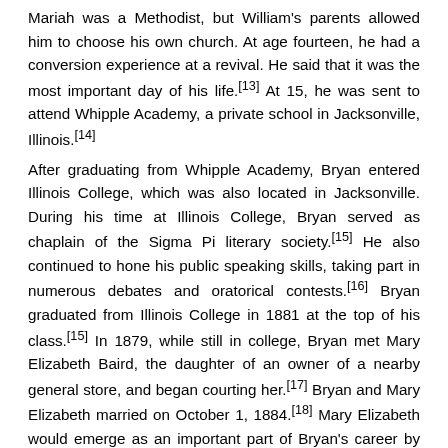Mariah was a Methodist, but William's parents allowed him to choose his own church. At age fourteen, he had a conversion experience at a revival. He said that it was the most important day of his life.[13] At 15, he was sent to attend Whipple Academy, a private school in Jacksonville, Illinois.[14]
After graduating from Whipple Academy, Bryan entered Illinois College, which was also located in Jacksonville. During his time at Illinois College, Bryan served as chaplain of the Sigma Pi literary society.[15] He also continued to hone his public speaking skills, taking part in numerous debates and oratorical contests.[16] Bryan graduated from Illinois College in 1881 at the top of his class.[15] In 1879, while still in college, Bryan met Mary Elizabeth Baird, the daughter of an owner of a nearby general store, and began courting her.[17] Bryan and Mary Elizabeth married on October 1, 1884.[18] Mary Elizabeth would emerge as an important part of Bryan's career by managing his correspondence and helping him prepare speeches and articles.[17]
Bryan then studied law in Chicago at Union Law College (now Northwestern University School of Law).[19] While attending law school, Bryan worked for the